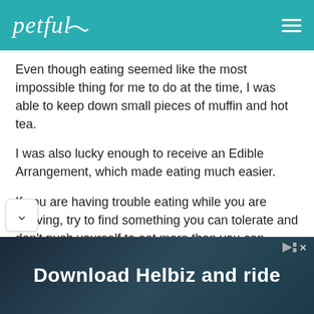petful
Even though eating seemed like the most impossible thing for me to do at the time, I was able to keep down small pieces of muffin and hot tea.
I was also lucky enough to receive an Edible Arrangement, which made eating much easier.
If you are having trouble eating while you are grieving, try to find something you can tolerate and don't push yourself to eat more than you can handle.
[Figure (screenshot): Advertisement banner at bottom: 'Download Helbiz and ride' with person on scooter background]